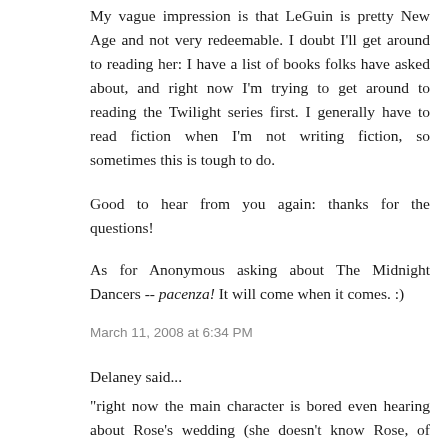My vague impression is that LeGuin is pretty New Age and not very redeemable. I doubt I'll get around to reading her: I have a list of books folks have asked about, and right now I'm trying to get around to reading the Twilight series first. I generally have to read fiction when I'm not writing fiction, so sometimes this is tough to do.
Good to hear from you again: thanks for the questions!
As for Anonymous asking about The Midnight Dancers -- pacenza! It will come when it comes. :)
March 11, 2008 at 6:34 PM
Delaney said...
"right now the main character is bored even hearing about Rose's wedding (she doesn't know Rose, of course)."